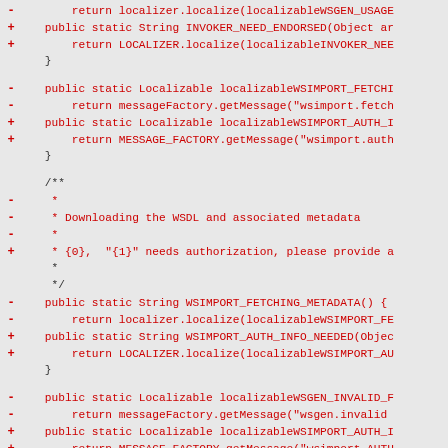[Figure (screenshot): Code diff view showing Java source code changes with removed lines (marked with -) in red and added lines (marked with +) in red, on a light gray background. Shows method signatures and return statements for localization-related utility methods.]